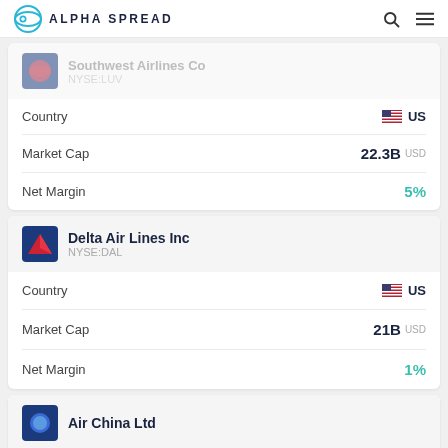ALPHA SPREAD
Southwest Airlines Co NYSE:LUV
| Field | Value |
| --- | --- |
| Country | US |
| Market Cap | 22.3B USD |
| Net Margin | 5% |
Delta Air Lines Inc NYSE:DAL
| Field | Value |
| --- | --- |
| Country | US |
| Market Cap | 21B USD |
| Net Margin | 1% |
Air China Ltd